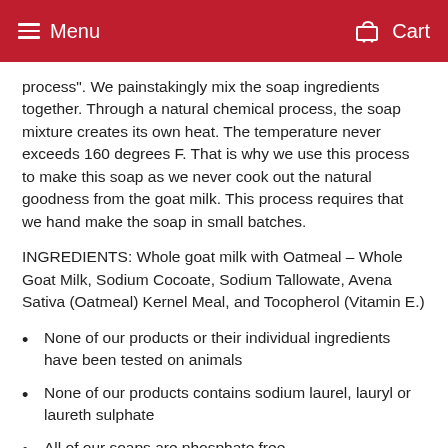Menu   Cart
process". We painstakingly mix the soap ingredients together. Through a natural chemical process, the soap mixture creates its own heat. The temperature never exceeds 160 degrees F. That is why we use this process to make this soap as we never cook out the natural goodness from the goat milk. This process requires that we hand make the soap in small batches.
INGREDIENTS: Whole goat milk with Oatmeal – Whole Goat Milk, Sodium Cocoate, Sodium Tallowate, Avena Sativa (Oatmeal) Kernel Meal, and Tocopherol (Vitamin E.)
None of our products or their individual ingredients have been tested on animals
None of our products contains sodium laurel, lauryl or laureth sulphate
All of our soaps are phosphate free